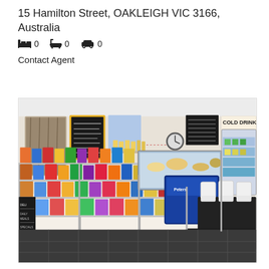15 Hamilton Street, OAKLEIGH VIC 3166, Australia
🛏 0  🛁 0  🚗 0
Contact Agent
[Figure (photo): Interior of a deli/convenience store with shelves of packaged goods, a refrigerated display counter, a cold drinks fridge, and white chairs with dark tables in a seating area. Chalkboard menu boards on the wall.]